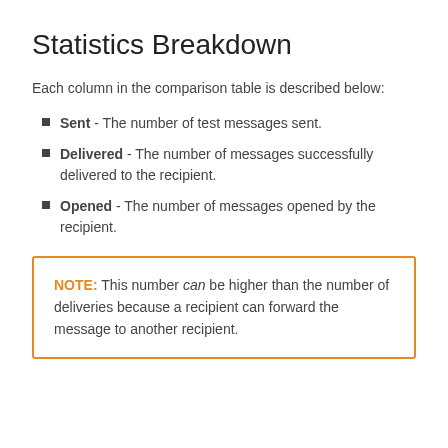Statistics Breakdown
Each column in the comparison table is described below:
Sent - The number of test messages sent.
Delivered - The number of messages successfully delivered to the recipient.
Opened - The number of messages opened by the recipient.
NOTE: This number can be higher than the number of deliveries because a recipient can forward the message to another recipient.